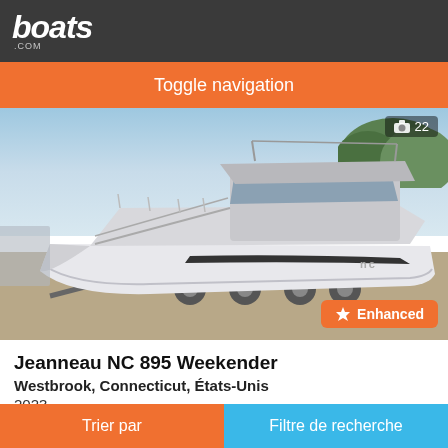boats.com
Toggle navigation
[Figure (photo): Jeanneau NC 895 Weekender motorboat on a trailer in a marina yard, white hull, hardtop, photo count badge showing camera icon and 22, Enhanced badge in orange bottom-right]
Jeanneau NC 895 Weekender
Westbrook, Connecticut, États-Unis
2023
Sur demande
Trier par | Filtre de recherche